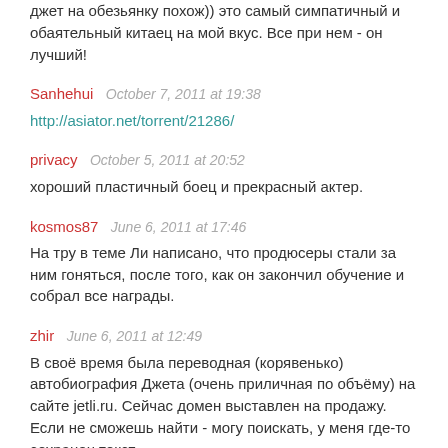джет на обезьянку похож)) это самый симпатичный и обаятельный китаец на мой вкус. Все при нем - он лучший!
Sanhehui   October 7, 2011 at 19:38
http://asiator.net/torrent/21286/
privacy   October 5, 2011 at 20:52
хороший пластичный боец и прекрасный актер.
kosmos87   June 6, 2011 at 17:46
На тру в теме Ли написано, что продюсеры стали за ним гоняться, после того, как он закончил обучение и собрал все награды.
zhir   June 6, 2011 at 12:49
В своё время была переводная (корявенько) автобиография Джета (очень приличная по объёму) на сайте jetli.ru. Сейчас домен выставлен на продажу. Если не сможешь найти - могу поискать, у меня где-то сохранен текст